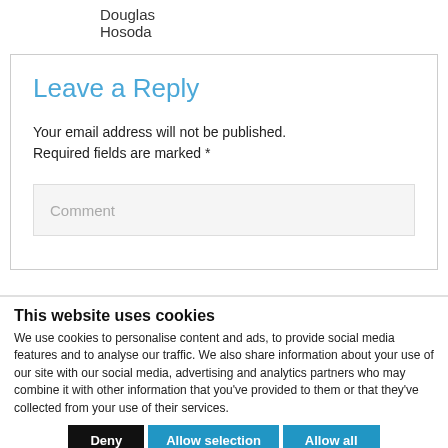Douglas
Hosoda
Leave a Reply
Your email address will not be published. Required fields are marked *
Comment
This website uses cookies
We use cookies to personalise content and ads, to provide social media features and to analyse our traffic. We also share information about your use of our site with our social media, advertising and analytics partners who may combine it with other information that you've provided to them or that they've collected from your use of their services.
Deny | Allow selection | Allow all
Necessary  Preferences  Statistics  Marketing  Show details